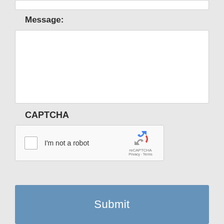Message:
[Figure (screenshot): Empty text area input box for message entry]
CAPTCHA
[Figure (screenshot): reCAPTCHA widget with checkbox 'I'm not a robot', reCAPTCHA logo, Privacy and Terms links]
Submit